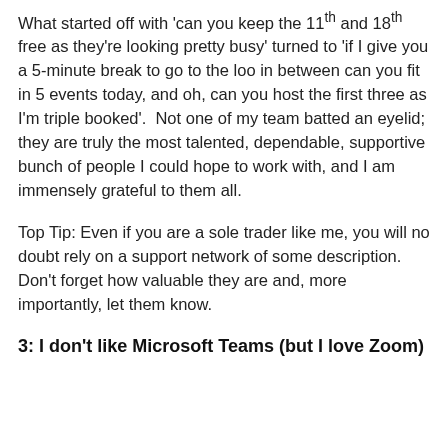What started off with 'can you keep the 11th and 18th free as they're looking pretty busy' turned to 'if I give you a 5-minute break to go to the loo in between can you fit in 5 events today, and oh, can you host the first three as I'm triple booked'.  Not one of my team batted an eyelid; they are truly the most talented, dependable, supportive bunch of people I could hope to work with, and I am immensely grateful to them all.
Top Tip: Even if you are a sole trader like me, you will no doubt rely on a support network of some description.  Don't forget how valuable they are and, more importantly, let them know.
3: I don't like Microsoft Teams (but I love Zoom)